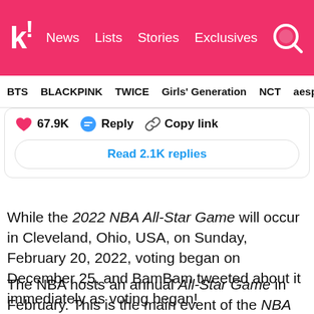k! News  Lists  Stories  Exclusives
BTS  BLACKPINK  TWICE  Girls' Generation  NCT  aespa
[Figure (screenshot): Tweet interaction bar showing: pink heart icon with 67.9K likes, blue reply icon with Reply label, chain link icon with Copy link label, and a 'Read 2.1K replies' button]
While the 2022 NBA All-Star Game will occur in Cleveland, Ohio, USA, on Sunday, February 20, 2022, voting began on December 25, and BamBam tweeted about it immediately as voting began!
The NBA hosts an annual All-Star Game in February. This is the main event of the NBA All-Star Weekend, a three-day event that spans Friday to Sunday. The exhibition features 24 of